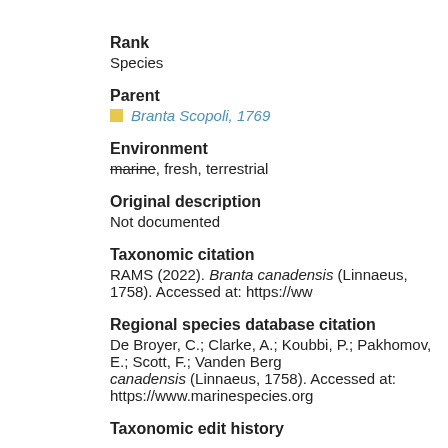Rank
Species
Parent
Branta Scopoli, 1769
Environment
marine, fresh, terrestrial
Original description
Not documented
Taxonomic citation
RAMS (2022). Branta canadensis (Linnaeus, 1758). Accessed at: https://ww
Regional species database citation
De Broyer, C.; Clarke, A.; Koubbi, P.; Pakhomov, E.; Scott, F.; Vanden Berg canadensis (Linnaeus, 1758). Accessed at: https://www.marinespecies.org
Taxonomic edit history
| Date | action |
| --- | --- |
| 2005-05-27 09:47:05Z | create |
| 2011-04-08 06:18:06Z | check |
| 2011-04-27 09:01:37Z | chang |